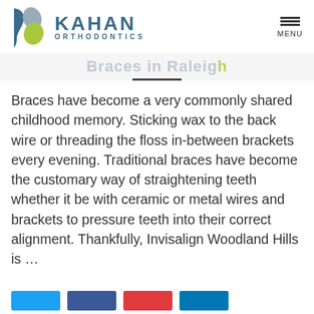KAHAN ORTHODONTICS | MENU
Braces in Raleigh
Braces have become a very commonly shared childhood memory. Sticking wax to the back wire or threading the floss in-between brackets every evening. Traditional braces have become the customary way of straightening teeth whether it be with ceramic or metal wires and brackets to pressure teeth into their correct alignment. Thankfully, Invisalign Woodland Hills is …